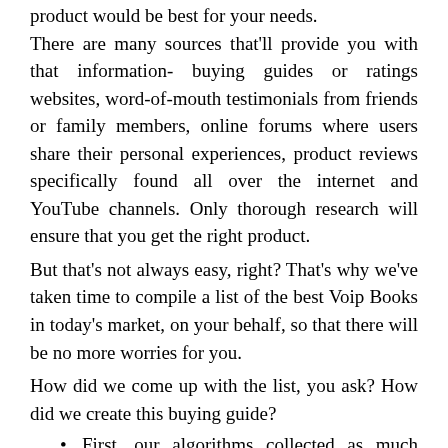product would be best for your needs. There are many sources that'll provide you with that information- buying guides or ratings websites, word-of-mouth testimonials from friends or family members, online forums where users share their personal experiences, product reviews specifically found all over the internet and YouTube channels. Only thorough research will ensure that you get the right product.
But that's not always easy, right? That's why we've taken time to compile a list of the best Voip Books in today's market, on your behalf, so that there will be no more worries for you.
How did we come up with the list, you ask? How did we create this buying guide?
First, our algorithms collected as much information available about these products from trusted sources.